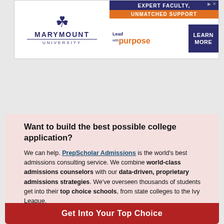[Figure (screenshot): Marymount University advertisement banner: logo with fleur-de-lis, 'EXPERT FACULTY, UNMATCHED SUPPORT', 'Lead with purpose', 'LEARN MORE' button]
Want to build the best possible college application?
We can help. PrepScholar Admissions is the world's best admissions consulting service. We combine world-class admissions counselors with our data-driven, proprietary admissions strategies. We've overseen thousands of students get into their top choice schools, from state colleges to the Ivy League.
We know what kinds of students colleges want to admit. We want to get you admitted to your dream schools.
Learn more about PrepScholar Admissions to maximize your chance of getting in.
Get Into Your Top Choice